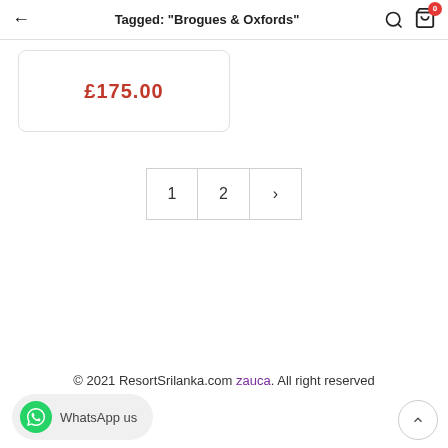Tagged: "Brogues & Oxfords"
£175.00
1  2  >
© 2021 ResortSrilanka.com zauca. All right reserved
WhatsApp us